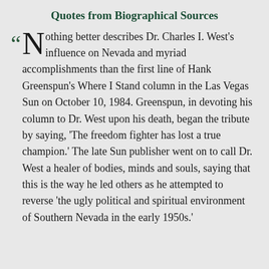Quotes from Biographical Sources
Nothing better describes Dr. Charles I. West's influence on Nevada and myriad accomplishments than the first line of Hank Greenspun's Where I Stand column in the Las Vegas Sun on October 10, 1984. Greenspun, in devoting his column to Dr. West upon his death, began the tribute by saying, 'The freedom fighter has lost a true champion.' The late Sun publisher went on to call Dr. West a healer of bodies, minds and souls, saying that this is the way he led others as he attempted to reverse 'the ugly political and spiritual environment of Southern Nevada in the early 1950s.'